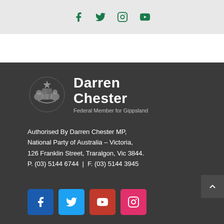Social media icons: Facebook, Twitter, Instagram, YouTube
[Figure (logo): Australian Government coat of arms crest with Darren Chester - Federal Member for Gippsland branding]
Authorised By Darren Chester MP, National Party of Australia – Victoria, 126 Franklin Street, Traralgon, Vic 3844. P. (03) 5144 6744 | F. (03) 5144 3945
[Figure (infographic): Social media icon buttons: Facebook (blue), Twitter (light blue), YouTube (red), Instagram (pink)]